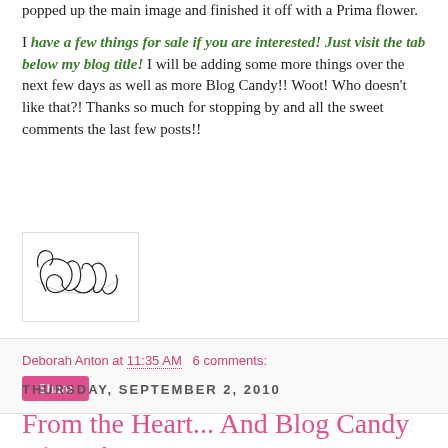popped up the main image and finished it off with a Prima flower.
I have a few things for sale if you are interested! Just visit the tab below my blog title! I will be adding some more things over the next few days as well as more Blog Candy!! Woot! Who doesn't like that?! Thanks so much for stopping by and all the sweet comments the last few posts!!
[Figure (illustration): Handwritten cursive signature reading 'Deborah' in a white bordered box]
Deborah Anton at 11:35 AM   6 comments:
Share
THURSDAY, SEPTEMBER 2, 2010
From the Heart... And Blog Candy winner!